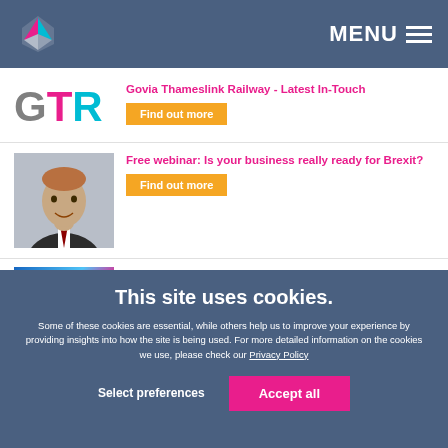MENU
Govia Thameslink Railway - Latest In-Touch
Find out more
Free webinar: Is your business really ready for Brexit?
Find out more
Three PDT Partners recognised as top legal
This site uses cookies.
Some of these cookies are essential, while others help us to improve your experience by providing insights into how the site is being used. For more detailed information on the cookies we use, please check our Privacy Policy
Select preferences
Accept all